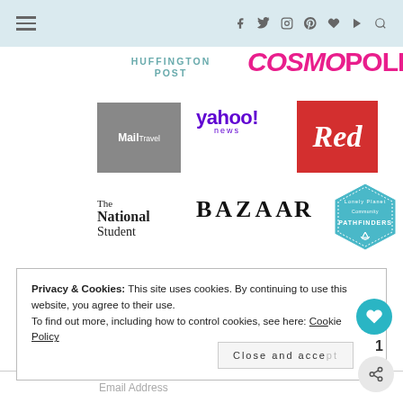Navigation bar with hamburger menu and social icons
[Figure (logo): Huffington Post logo in teal uppercase letters]
[Figure (logo): Cosmopolitan logo in magenta italic bold uppercase]
[Figure (logo): Mail Travel logo in grey square box with white text]
[Figure (logo): Yahoo! News logo in purple]
[Figure (logo): Red magazine logo in red box with white italic text]
[Figure (logo): The National Student logo in black serif text]
[Figure (logo): Harper's Bazaar logo in black serif bold uppercase]
[Figure (logo): Lonely Planet Community Pathfinders hexagon badge in teal]
Privacy & Cookies: This site uses cookies. By continuing to use this website, you agree to their use. To find out more, including how to control cookies, see here: Cookie Policy
Close and accept
Email Address